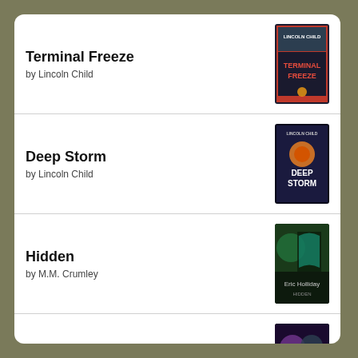Terminal Freeze by Lincoln Child
Deep Storm by Lincoln Child
Hidden by M.M. Crumley
The Uncanny Huntsman by Golden Czermak
Landslide: The Final Days of the Trump Presidency by Michael Wolff
[Figure (logo): Goodreads logo button with rounded rectangle border]